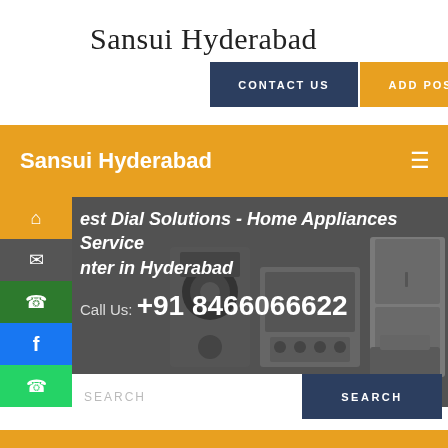Sansui Hyderabad
CONTACT US
ADD POST
Sansui Hyderabad
[Figure (screenshot): Hero banner with home appliances (speakers, stove, refrigerator, printer) in grayscale. Text overlay reads: 'est Dial Solutions - Home Appliances Service nter in Hyderabad' and 'Call Us: +91 8466066622'. Side social icons bar with home, mail, phone, facebook, whatsapp icons. Search bar at bottom.]
est Dial Solutions - Home Appliances Service nter in Hyderabad
Call Us: +91 8466066622
SEARCH